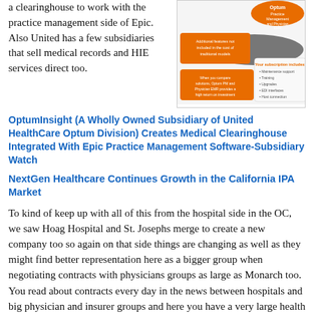a clearinghouse to work with the practice management side of Epic.  Also United has a few subsidiaries that sell medical records and HIE services direct too.
[Figure (infographic): Optum Practice Management and Physician EMR promotional infographic showing additional features not included in traditional models, comparison of solutions, and subscription inclusions (Maintenance support, Training, Upgrades, EDI interfaces, Host connection).]
OptumInsight (A Wholly Owned Subsidiary of United HealthCare Optum Division) Creates Medical Clearinghouse Integrated With Epic Practice Management Software-Subsidiary Watch
NextGen Healthcare Continues Growth in the California IPA Market
To kind of keep up with all of this from the hospital side in the OC, we saw Hoag Hospital and St. Josephs merge to create a new company too so again on that side things are changing as well as they might find better representation here as a bigger group when negotiating contracts with physicians groups as large as Monarch too.  You read about contracts every day in the news between hospitals and big physician and insurer groups and here you have a very large health insurer owing the MD groups too.  While all of this is going on too with the hospitals, it's kind of relative to point